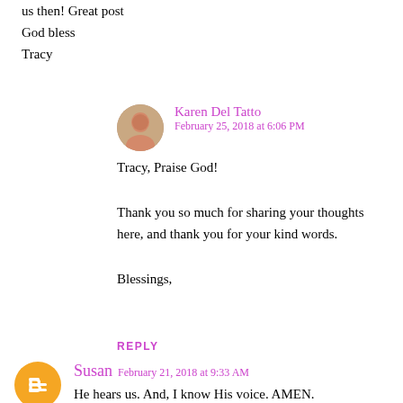us then! Great post
God bless
Tracy
[Figure (photo): Circular avatar photo of Karen Del Tatto]
Karen Del Tatto
February 25, 2018 at 6:06 PM
Tracy, Praise God!

Thank you so much for sharing your thoughts here, and thank you for your kind words.

Blessings,
REPLY
[Figure (logo): Blogger orange circle icon with B letter]
Susan   February 21, 2018 at 9:33 AM
He hears us. And, I know His voice. AMEN.
[Figure (photo): Circular avatar photo of Karen Del Tatto]
Karen Del Tatto
February 25, 2018 at 6:06 PM
Hi Susan, Thanks so much for visiting. I appreciate it!